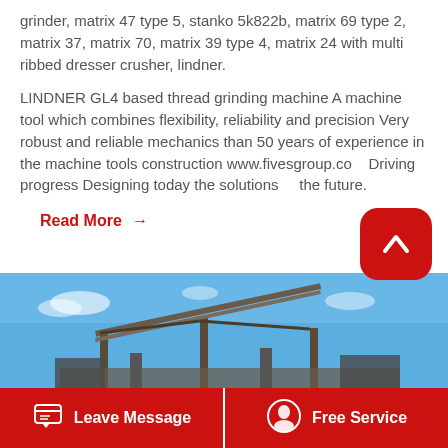grinder, matrix 47 type 5, stanko 5k822b, matrix 69 type 2, matrix 37, matrix 70, matrix 39 type 4, matrix 24 with multi ribbed dresser crusher, lindner.
LINDNER GL4 based thread grinding machine A machine tool which combines flexibility, reliability and precision Very robust and reliable mechanics than 50 years of experience in the machine tools construction www.fivesgroup.com Driving progress Designing today the solutions of the future.
Read More →
[Figure (photo): Industrial machinery or conveyor structure against a blue sky background]
Leave Message   Free Service